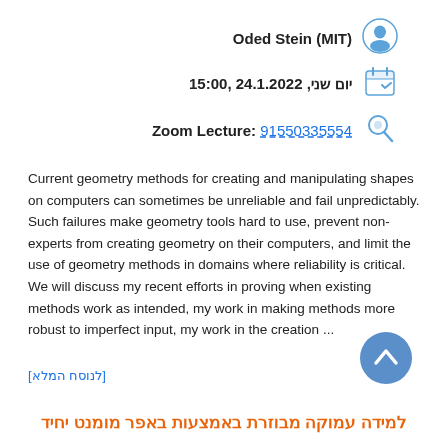Oded Stein (MIT)
יום שני, 24.1.2022 ,15:00
Zoom Lecture: 91550335554
Current geometry methods for creating and manipulating shapes on computers can sometimes be unreliable and fail unpredictably. Such failures make geometry tools hard to use, prevent non-experts from creating geometry on their computers, and limit the use of geometry methods in domains where reliability is critical. We will discuss my recent efforts in proving when existing methods work as intended, my work in making methods more robust to imperfect input, my work in the creation ...
[לנוסח המלא]
למידה עמוקה מבוזרת באמצעות באפר מומנט יחיד